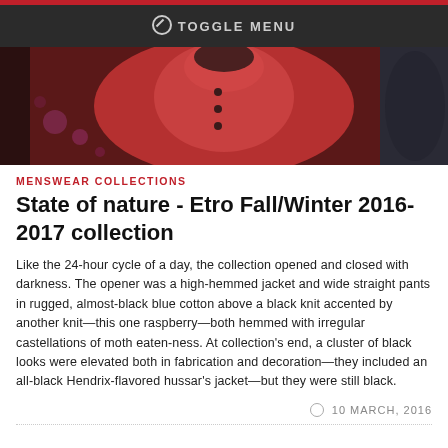TOGGLE MENU
[Figure (photo): A person wearing a red double-breasted coat or jacket, photographed against a dark background with bokeh lighting effects.]
MENSWEAR COLLECTIONS
State of nature - Etro Fall/Winter 2016-2017 collection
Like the 24-hour cycle of a day, the collection opened and closed with darkness. The opener was a high-hemmed jacket and wide straight pants in rugged, almost-black blue cotton above a black knit accented by another knit—this one raspberry—both hemmed with irregular castellations of moth eaten-ness. At collection's end, a cluster of black looks were elevated both in fabrication and decoration—they included an all-black Hendrix-flavored hussar's jacket—but they were still black.
10 MARCH, 2016